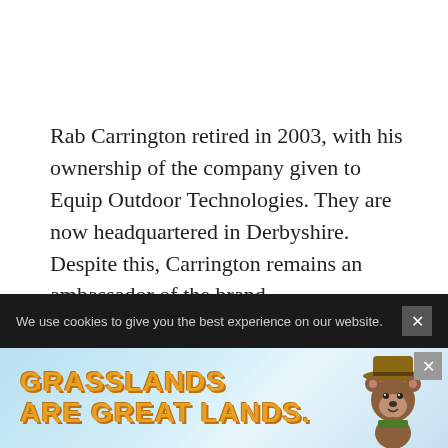Rab Carrington retired in 2003, with his ownership of the company given to Equip Outdoor Technologies. They are now headquartered in Derbyshire. Despite this, Carrington remains an ambassador of the brand.
Read also: 9 UK Outdoor Clothing and Jackets Brands for Your Adventures
We use cookies to give you the best experience on our website.
[Figure (other): Advertisement banner reading GRASSLANDS ARE GREAT LANDS with Smokey Bear mascot on a light blue background]